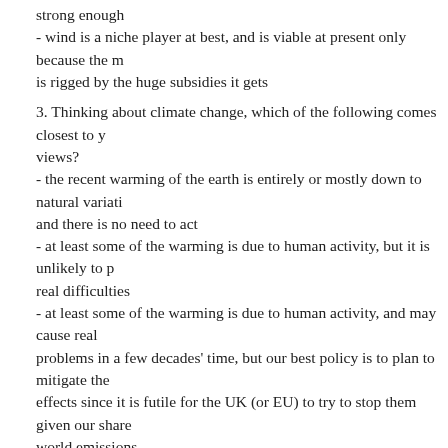strong enough
- wind is a niche player at best, and is viable at present only because the m is rigged by the huge subsidies it gets
3. Thinking about climate change, which of the following comes closest to y views?
- the recent warming of the earth is entirely or mostly down to natural variati and there is no need to act
- at least some of the warming is due to human activity, but it is unlikely to p real difficulties
- at least some of the warming is due to human activity, and may cause real problems in a few decades' time, but our best policy is to plan to mitigate the effects since it is futile for the UK (or EU) to try to stop them given our share world emissions
- the warming is dominantly caused by human activity, and it is essential for UK to act now to reduce greenhouse gas emissions, even if this is very cos puts economic growth at risk.
Posted by: Austin Spreadbury | September 22, 2008 at 13:37
Ask if people think now is the time to start announcing policies to build up a manefesto, running the risk that they might get nicked and implemented wro just keep giving out vaugue generalisations with the risk that policies may lo